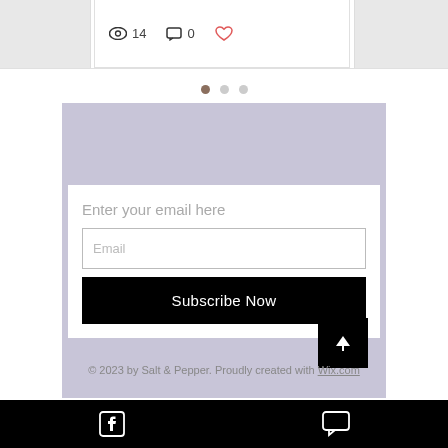[Figure (screenshot): Partial blog post card showing view count (14), comment count (0), and a heart/like icon in red]
[Figure (infographic): Three dot carousel navigation indicators, first dot active in brown/tan color]
[Figure (screenshot): Email subscription form with lavender background, white card containing 'Enter your email here' title, Email input field, and 'Subscribe Now' black button]
[Figure (screenshot): Scroll-to-top black button with white upward arrow]
© 2023 by Salt & Pepper. Proudly created with Wix.com
[Figure (screenshot): Black footer bar with Facebook icon on left and chat/comment icon on right]